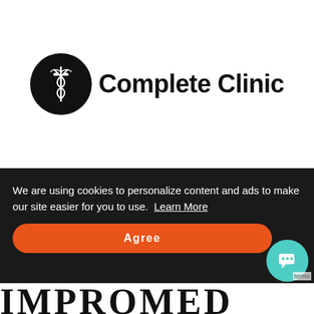[Figure (logo): Complete Clinic logo: black circle with veterinary caduceus symbol in white, followed by bold text 'Complete Clinic']
We are using cookies to personalize content and ads to make our site easier for you to use. Learn More
Agree
IMPROMED